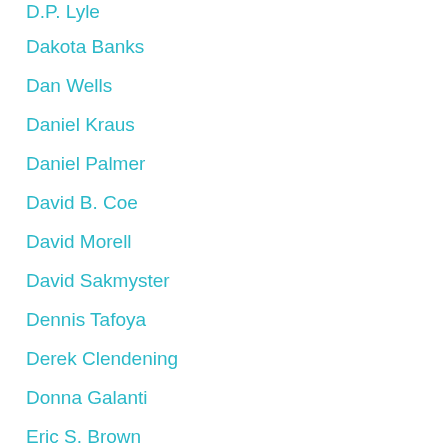D.P. Lyle
Dakota Banks
Dan Wells
Daniel Kraus
Daniel Palmer
David B. Coe
David Morell
David Sakmyster
Dennis Tafoya
Derek Clendening
Donna Galanti
Eric S. Brown
Eric Van Lustbader
F. Paul Wilson